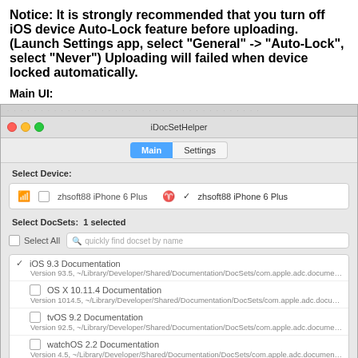Notice: It is strongly recommended that you turn off iOS device Auto-Lock feature before uploading. (Launch Settings app, select "General" -> "Auto-Lock", select "Never") Uploading will failed when device locked automatically.
Main UI:
[Figure (screenshot): macOS application window for iDocSetHelper showing Main tab with Select Device section listing 'zhsoft88 iPhone 6 Plus' via WiFi and USB, and Select DocSets section with 1 selected, listing iOS 9.3 Documentation (checked), OS X 10.11.4 Documentation, tvOS 9.2 Documentation, and watchOS 2.2 Documentation with their version paths.]